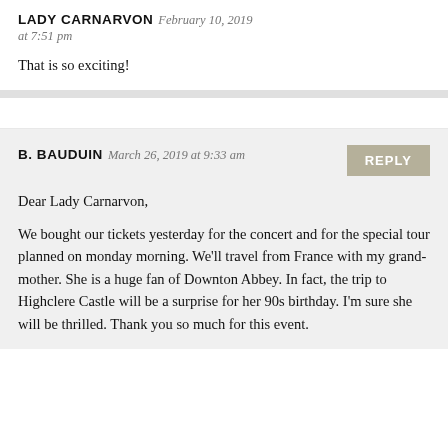LADY CARNARVON  February 10, 2019 at 7:51 pm
That is so exciting!
B. BAUDUIN  March 26, 2019 at 9:33 am
Dear Lady Carnarvon,

We bought our tickets yesterday for the concert and for the special tour planned on monday morning. We'll travel from France with my grand-mother. She is a huge fan of Downton Abbey. In fact, the trip to Highclere Castle will be a surprise for her 90s birthday. I'm sure she will be thrilled. Thank you so much for this event.